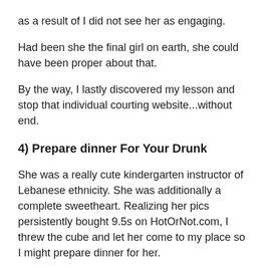as a result of I did not see her as engaging.
Had been she the final girl on earth, she could have been proper about that.
By the way, I lastly discovered my lesson and stop that individual courting website...without end.
4) Prepare dinner For Your Drunk
She was a really cute kindergarten instructor of Lebanese ethnicity. She was additionally a complete sweetheart. Realizing her pics persistently bought 9.5s on HotOrNot.com, I threw the cube and let her come to my place so I might prepare dinner for her.
There have been no disappointments. She was